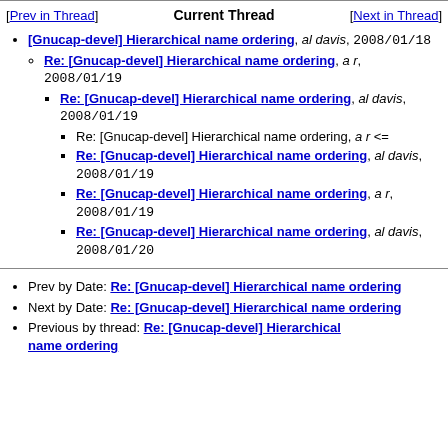[Prev in Thread]   Current Thread   [Next in Thread]
[Gnucap-devel] Hierarchical name ordering, al davis, 2008/01/18
Re: [Gnucap-devel] Hierarchical name ordering, a r, 2008/01/19
Re: [Gnucap-devel] Hierarchical name ordering, al davis, 2008/01/19
Re: [Gnucap-devel] Hierarchical name ordering, a r <=
Re: [Gnucap-devel] Hierarchical name ordering, al davis, 2008/01/19
Re: [Gnucap-devel] Hierarchical name ordering, a r, 2008/01/19
Re: [Gnucap-devel] Hierarchical name ordering, al davis, 2008/01/20
Prev by Date: Re: [Gnucap-devel] Hierarchical name ordering
Next by Date: Re: [Gnucap-devel] Hierarchical name ordering
Previous by thread: Re: [Gnucap-devel] Hierarchical name ordering